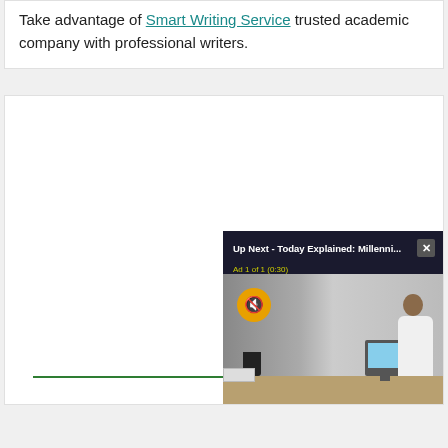Take advantage of Smart Writing Service trusted academic company with professional writers.
[Figure (screenshot): Video player overlay showing 'Up Next - Today Explained: Millenni...' with an ad (Ad 1 of 1 (0:30)), a mute button, and an office scene with a person working at a computer desk. A green horizontal line is visible in the main content area.]